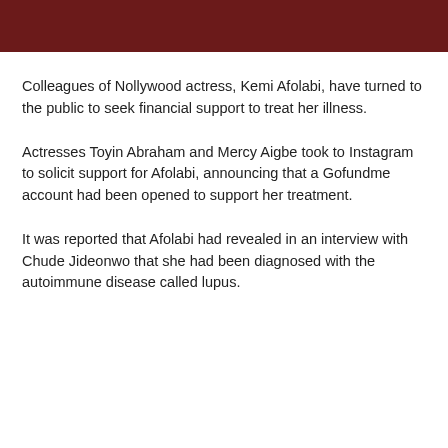[Figure (other): Dark maroon/burgundy header bar spanning the full width of the page]
Colleagues of Nollywood actress, Kemi Afolabi, have turned to the public to seek financial support to treat her illness.
Actresses Toyin Abraham and Mercy Aigbe took to Instagram to solicit support for Afolabi, announcing that a Gofundme account had been opened to support her treatment.
It was reported that Afolabi had revealed in an interview with Chude Jideonwo that she had been diagnosed with the autoimmune disease called lupus.